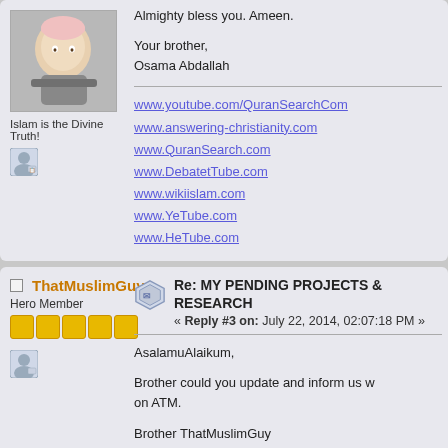Almighty bless you.  Ameen.

Your brother,
Osama Abdallah
Islam is the Divine Truth!
www.youtube.com/QuranSearchCom
www.answering-christianity.com
www.QuranSearch.com
www.DebatetTube.com
www.wikiislam.com
www.YeTube.com
www.HeTube.com
ThatMuslimGuy
Hero Member
Re: MY PENDING PROJECTS & RESEARCH
« Reply #3 on: July 22, 2014, 02:07:18 PM »
AsalamuAlaikum,

Brother could you update and inform us w... on ATM.

Brother ThatMuslimGuy
http://quran-errors.blogspot.co.uk/